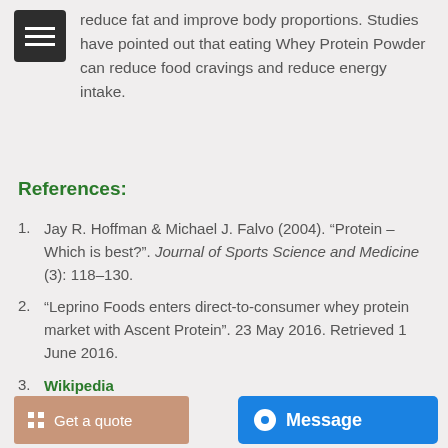reduce fat and improve body proportions. Studies have pointed out that eating Whey Protein Powder can reduce food cravings and reduce energy intake.
References:
Jay R. Hoffman & Michael J. Falvo (2004). “Protein – Which is best?”. Journal of Sports Science and Medicine (3): 118–130.
“Leprino Foods enters direct-to-consumer whey protein market with Ascent Protein”. 23 May 2016. Retrieved 1 June 2016.
Wikipedia